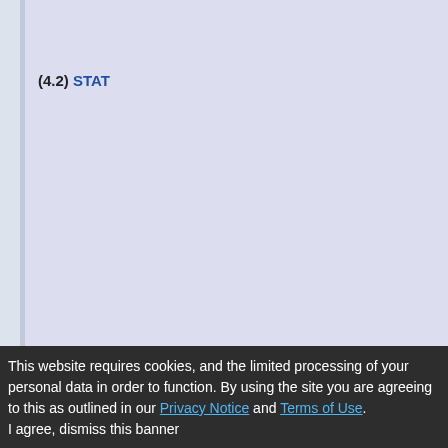(4.2) STAT
1
2
3
4
5
6
p53 p63 p73 family
p53
TP63
p73
TBX
1
2
3
5
19
21
22
TBR1
(4.3) p53-like
This website requires cookies, and the limited processing of your personal data in order to function. By using the site you are agreeing to this as outlined in our Privacy Notice and Terms of Use. I agree, dismiss this banner